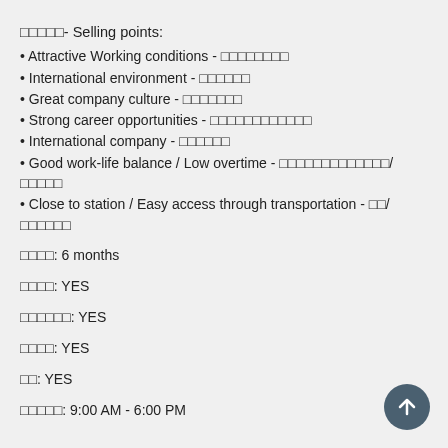□□□□□- Selling points:
• Attractive Working conditions - □□□□□□□□
• International environment - □□□□□□
• Great company culture - □□□□□□□
• Strong career opportunities - □□□□□□□□□□□□
• International company - □□□□□□
• Good work-life balance / Low overtime - □□□□□□□□□□□□□/□□□□□
• Close to station / Easy access through transportation - □□/□□□□□□
□□□□: 6 months
□□□□: YES
□□□□□□: YES
□□□□: YES
□□: YES
□□□□□: 9:00 AM - 6:00 PM